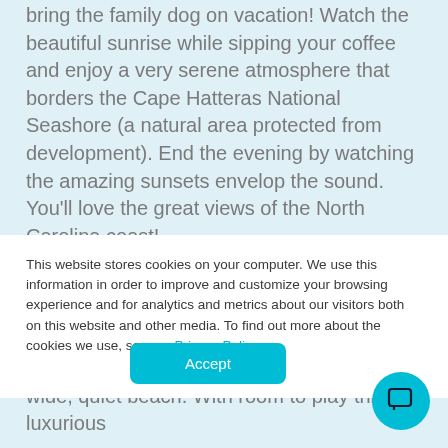bring the family dog on vacation! Watch the beautiful sunrise while sipping your coffee and enjoy a very serene atmosphere that borders the Cape Hatteras National Seashore (a natural area protected from development). End the evening by watching the amazing sunsets envelop the sound. You'll love the great views of the North Carolina coast!
Vacation in style! This home has fabulous decor and lots of amenities. BrughThru is a charming home that offers direct beach access approximately 750 feet away to a wide, quiet beach. With room to play this luxurious...
This website stores cookies on your computer. We use this information in order to improve and customize your browsing experience and for analytics and metrics about our visitors both on this website and other media. To find out more about the cookies we use, see our Privacy Policy.